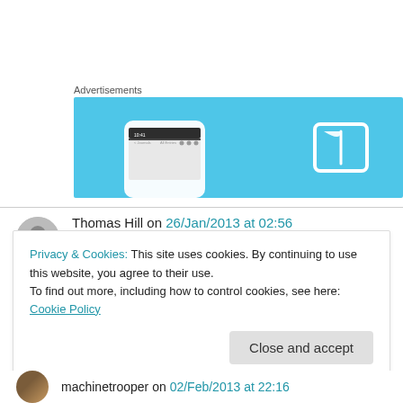[Figure (other): Advertisement banner with a light blue background showing a phone mockup and a book/reading app icon]
Thomas Hill on 26/Jan/2013 at 02:56
This is an exceptional book…thanks.
Privacy & Cookies: This site uses cookies. By continuing to use this website, you agree to their use.
To find out more, including how to control cookies, see here: Cookie Policy
machinetrooper on 02/Feb/2013 at 22:16